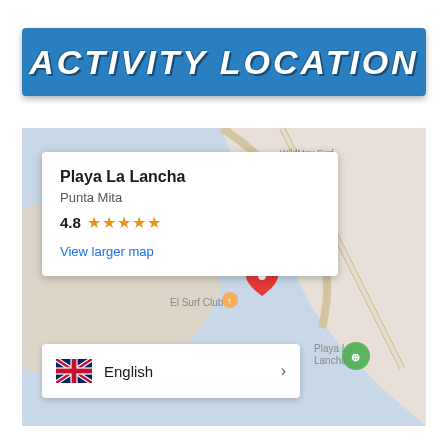ACTIVITY LOCATION
[Figure (map): Google Maps screenshot showing Playa La Lancha location near Punta Mita, Mexico. Map shows coastal area with El Surf Club and Playa La Lancha markers visible. Info card overlay shows place name, rating 4.8 stars, and View larger map link. Language selector bar at bottom shows English with UK flag.]